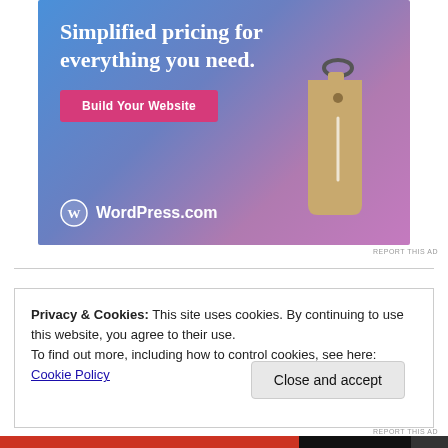[Figure (illustration): WordPress.com advertisement banner with gradient blue-purple background, price tag illustration, headline 'Simplified pricing for everything you need.', pink 'Build Your Website' button, and WordPress.com logo]
REPORT THIS AD
Privacy & Cookies: This site uses cookies. By continuing to use this website, you agree to their use.
To find out more, including how to control cookies, see here: Cookie Policy
Close and accept